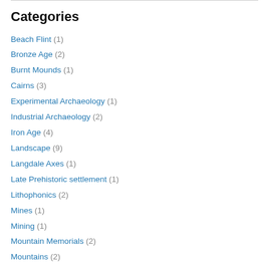Categories
Beach Flint (1)
Bronze Age (2)
Burnt Mounds (1)
Cairns (3)
Experimental Archaeology (1)
Industrial Archaeology (2)
Iron Age (4)
Landscape (9)
Langdale Axes (1)
Late Prehistoric settlement (1)
Lithophonics (2)
Mines (1)
Mining (1)
Mountain Memorials (2)
Mountains (2)
Neolithic Artefacts (2)
Neolithic Chambered Cairns (1)